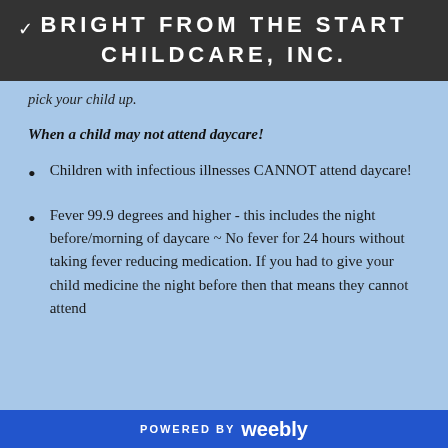BRIGHT FROM THE START CHILDCARE, INC.
pick your child up.
When a child may not attend daycare!
Children with infectious illnesses CANNOT attend daycare!
Fever 99.9 degrees and higher - this includes the night before/morning of daycare ~ No fever for 24 hours without taking fever reducing medication. If you had to give your child medicine the night before then that means they cannot attend
POWERED BY weebly